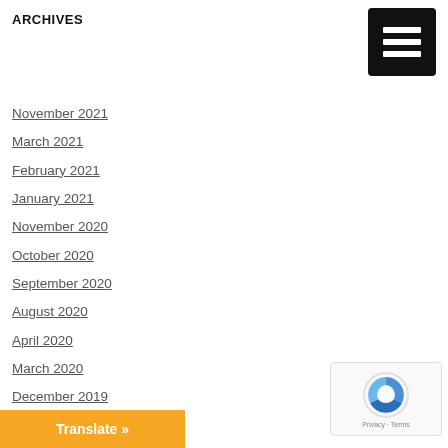ARCHIVES
November 2021
March 2021
February 2021
January 2021
November 2020
October 2020
September 2020
August 2020
April 2020
March 2020
December 2019
October 2019
June 2019
April 2019
March 2019
December 2018
S…
[Figure (other): Hamburger menu icon (three horizontal white lines on black background)]
Translate »
[Figure (other): reCAPTCHA Privacy - Terms badge]